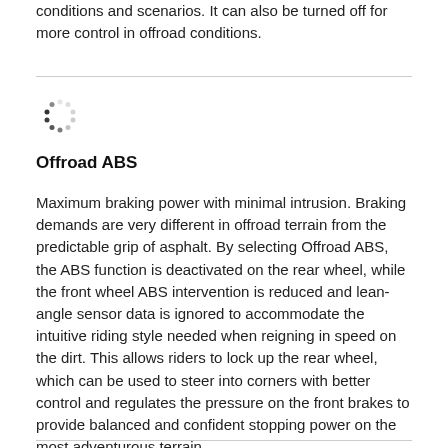conditions and scenarios. It can also be turned off for more control in offroad conditions.
[Figure (illustration): Loading spinner / icon for Offroad ABS feature]
Offroad ABS
Maximum braking power with minimal intrusion. Braking demands are very different in offroad terrain from the predictable grip of asphalt. By selecting Offroad ABS, the ABS function is deactivated on the rear wheel, while the front wheel ABS intervention is reduced and lean-angle sensor data is ignored to accommodate the intuitive riding style needed when reigning in speed on the dirt. This allows riders to lock up the rear wheel, which can be used to steer into corners with better control and regulates the pressure on the front brakes to provide balanced and confident stopping power on the most adventurous terrain.